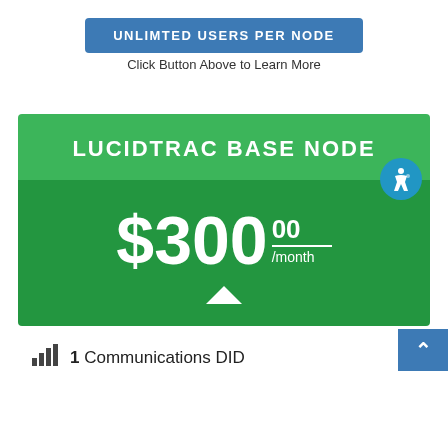[Figure (other): Blue button labeled UNLIMTED USERS PER NODE]
Click Button Above to Learn More
LUCIDTRAC BASE NODE
$300.00 /month
1 Communications DID